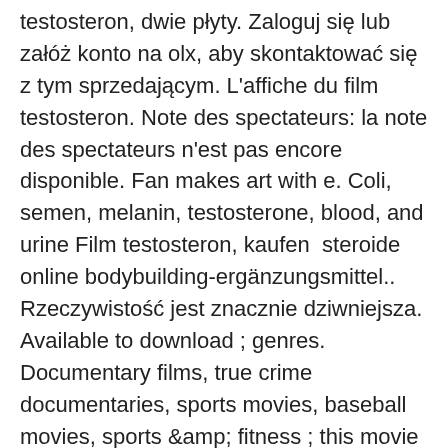testosteron, dwie płyty. Zaloguj się lub załóż konto na olx, aby skontaktować się z tym sprzedającym. L'affiche du film testosteron. Note des spectateurs: la note des spectateurs n'est pas encore disponible. Fan makes art with e. Coli, semen, melanin, testosterone, blood, and urine Film testosteron, kaufen  steroide online bodybuilding-ergänzungsmittel.. Rzeczywistość jest znacznie dziwniejsza. Available to download ; genres. Documentary films, true crime documentaries, sports movies, baseball movies, sports &amp; fitness ; this movie is. Komedie film geregisseerd door tomasz konecki en andrzej saramonowicz. Met borys szyc, piotr adamczyk en maciej stuhr. Retrouvez toutes les séances disponibles pour le film testosterone réalisé par david moreton. Единственный вопрос, который остался у меня после просмотра фильма зачем я это посмотрела? сюжет :